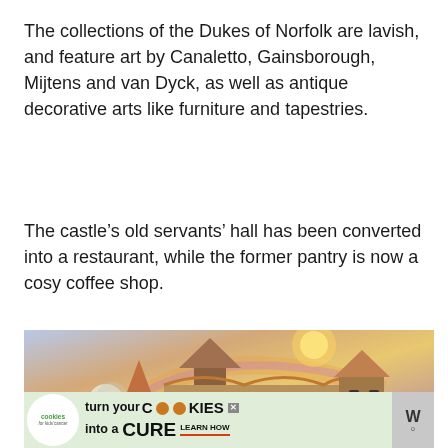The collections of the Dukes of Norfolk are lavish, and feature art by Canaletto, Gainsborough, Mijtens and van Dyck, as well as antique decorative arts like furniture and tapestries.
The castle's old servants' hall has been converted into a restaurant, while the former pantry is now a cosy coffee shop.
[Figure (photo): A castle with orange-brown tiled roofs and a tower, photographed at dusk or dawn with a rainbow and moon visible in a purple-orange sky.]
[Figure (infographic): Advertisement banner: 'cookies for kids cancer — turn your COOKIES into a CURE LEARN HOW' with close buttons.]